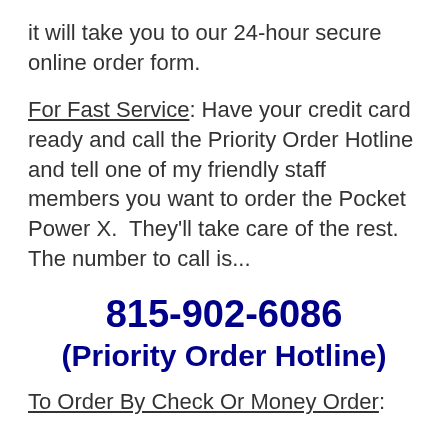it will take you to our 24-hour secure online order form.
For Fast Service: Have your credit card ready and call the Priority Order Hotline and tell one of my friendly staff members you want to order the Pocket Power X.  They'll take care of the rest.  The number to call is...
815-902-6086
(Priority Order Hotline)
To Order By Check Or Money Order: